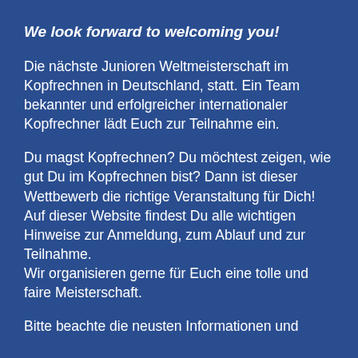We look forward to welcoming you!
Die nächste Junioren Weltmeisterschaft im Kopfrechnen in Deutschland, statt. Ein Team bekannter und erfolgreicher internationaler Kopfrechner lädt Euch zur Teilnahme ein.
Du magst Kopfrechnen? Du möchtest zeigen, wie gut Du im Kopfrechnen bist? Dann ist dieser Wettbewerb die richtige Veranstaltung für Dich! Auf dieser Website findest Du alle wichtigen Hinweise zur Anmeldung, zum Ablauf und zur Teilnahme.
Wir organisieren gerne für Euch eine tolle und faire Meisterschaft.
Bitte beachte die neusten Informationen und